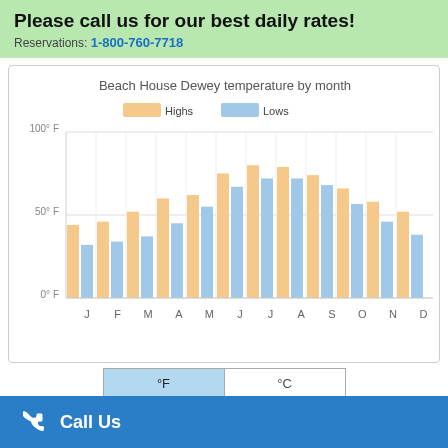Please call us for our best daily rates!
Reservations: 1-800-760-7718
[Figure (grouped-bar-chart): Beach House Dewey temperature by month]
°F | °C
Call Us